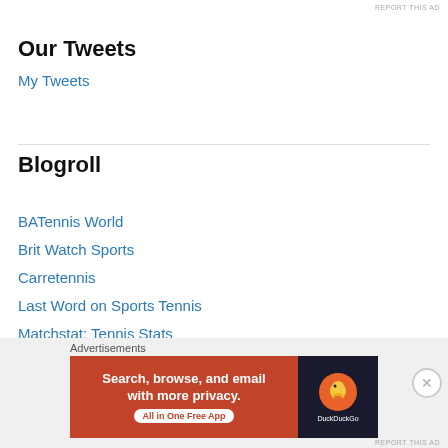REPORT THIS AD
Our Tweets
My Tweets
Blogroll
BATennis World
Brit Watch Sports
Carretennis
Last Word on Sports Tennis
Matchstat: Tennis Stats
Mens Tennis Forums
NYT: Straight Sets
Parenting Aces
Advertisements
[Figure (infographic): DuckDuckGo advertisement banner: Search, browse, and email with more privacy. All in One Free App. Shows DuckDuckGo logo on dark background.]
REPORT THIS AD